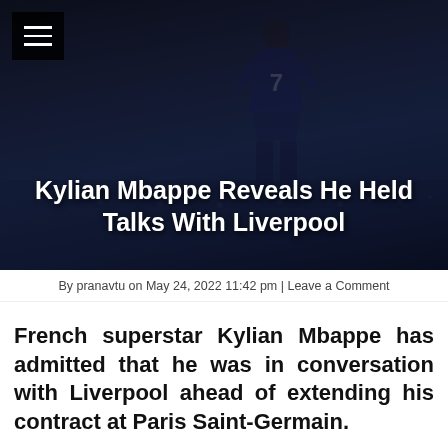[Figure (photo): Hero image of Kylian Mbappe from behind wearing a dark PSG jersey with number 7, overlaid with the article headline on a dark background]
Kylian Mbappe Reveals He Held Talks With Liverpool
By pranavtu on May 24, 2022 11:42 pm | Leave a Comment
French superstar Kylian Mbappe has admitted that he was in conversation with Liverpool ahead of extending his contract at Paris Saint-Germain.
In an interview with Daily Telegraph, French superstar Kylian Mbappe has revealed that he held talks with Premier League giants Liverpool before penning a new deal with Paris Saint-Germain.